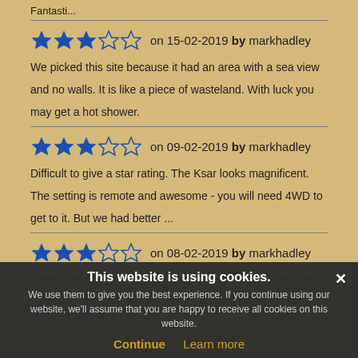Fantasti...
on 15-02-2019 by markhadley — 3 stars
We picked this site because it had an area with a sea view and no walls. It is like a piece of wasteland. With luck you may get a hot shower.
on 09-02-2019 by markhadley — 3 stars
Difficult to give a star rating. The Ksar looks magnificent. The setting is remote and awesome - you will need 4WD to get to it. But we had better ...
on 08-02-2019 by markhadley — 3 stars
Friendly welcome to this small Oasis campsite. The site is still the road from...
on 08-02-2019 by markhadley — 2 stars
This website is using cookies. We use them to give you the best experience. If you continue using our website, we'll assume that you are happy to receive all cookies on this website. Continue | Learn more